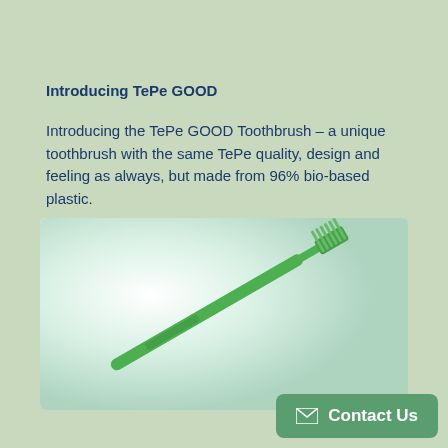Introducing TePe GOOD
Introducing the TePe GOOD Toothbrush – a unique toothbrush with the same TePe quality, design and feeling as always, but made from 96% bio-based plastic.
[Figure (photo): A green TePe GOOD toothbrush photographed diagonally on a light mint/white gradient background]
Contact Us